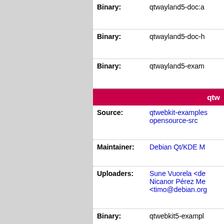| Field | Value |
| --- | --- |
| Binary: | qtwayland5-doc:a |
| Binary: | qtwayland5-doc-h |
| Binary: | qtwayland5-exam |
| qtw (section header) |  |
| Source: | qtwebkit-examples opensource-src |
| Maintainer: | Debian Qt/KDE M |
| Uploaders: | Sune Vuorela <de
Nicanor Pérez Me
<timo@debian.org |
| Binary: | qtwebkit5-exampl |
| Binary: | qtwebkit5-exampl |
| Binary: | qtwebkit5-exampl html:all |
| q (section header) |  |
| Source: | qtwebsockets-ope |